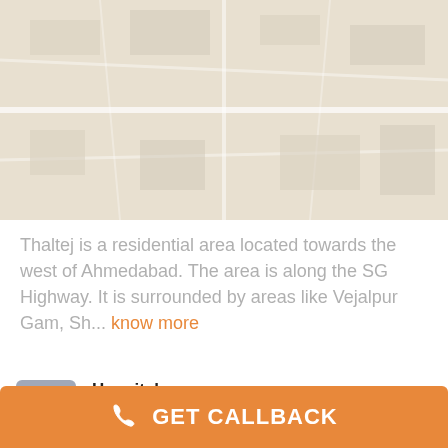[Figure (map): Map view showing Thaltej area, Ahmedabad - light beige/tan colored map background]
Thaltej is a residential area located towards the west of Ahmedabad. The area is along the SG Highway. It is surrounded by areas like Vejalpur Gam, Sh... know more
2.06 km | Hospital | Dr. Rahul Muchhadia
2.06 km | School | Rakesh Sirs Institute Primate
GET CALLBACK